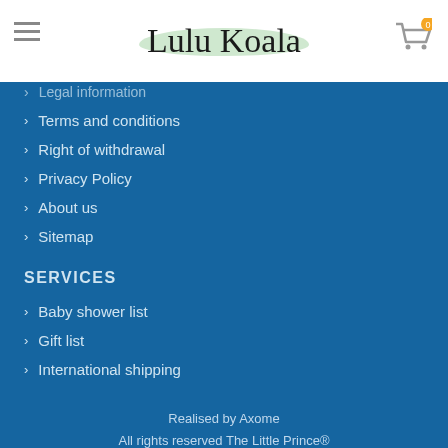Lulu Koala
Legal information
Terms and conditions
Right of withdrawal
Privacy Policy
About us
Sitemap
SERVICES
Baby shower list
Gift list
International shipping
Realised by Axome
All rights reserved The Little Prince®
[Figure (logo): Payment method logos: CB, MasterCard, VISA, PayPal, Colissimo]